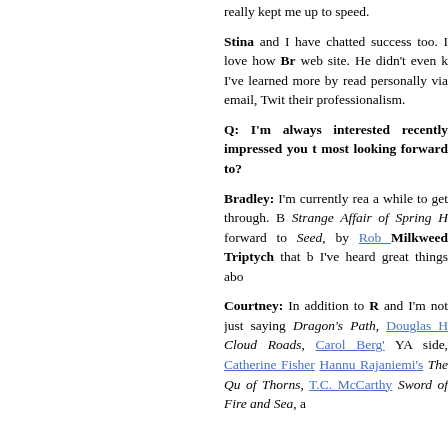really kept me up to speed.
Stina and I have chatted success too. I love how Br web site. He didn't even k I've learned more by read personally via email, Twit their professionalism.
Q: I'm always interested recently impressed you t most looking forward to?
Bradley: I'm currently rea a while to get through. B Strange Affair of Spring H forward to Seed, by Rob Milkweed Triptych that b I've heard great things abo
Courtney: In addition to B and I'm not just saying Dragon's Path, Douglas H Cloud Roads, Carol Berg' YA side, Catherine Fisher Hannu Rajaniemi's The Qu of Thorns, T.C. McCarthy Sword of Fire and Sea, a